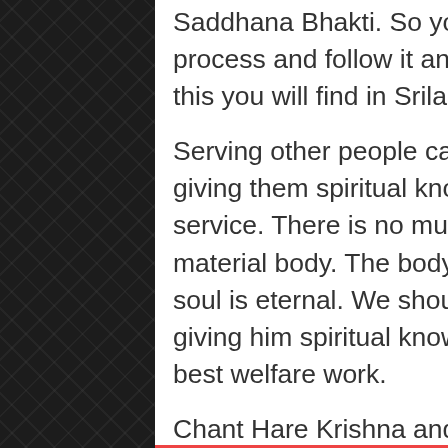Saddhana Bhakti. So you need to learn this process and follow it and the instructions for this you will find in Srila Prabhuapda's books.
Serving other people can best be done by giving them spiritual knowledge. That is real service. There is no much point in serving the material body. The body is temporary. The soul is eternal. We should serve the soul by giving him spiritual knowledge. That is the best welfare work.
Chant Hare Krishna and be happy!
Madhudvisa dasa
Reply